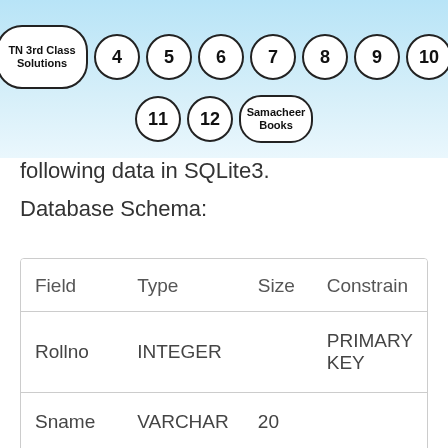[Figure (other): Navigation header banner with TN 3rd Class Solutions logo and numbered circles (4-12) and Samacheer Books button on a light blue gradient background]
following data in SQLite3.
Database Schema:
| Field | Type | Size | Constrain |
| --- | --- | --- | --- |
| Rollno | INTEGER |  | PRIMARY KEY |
| Sname | VARCHAR | 20 |  |
| Gender | CHAR | 1 |  |